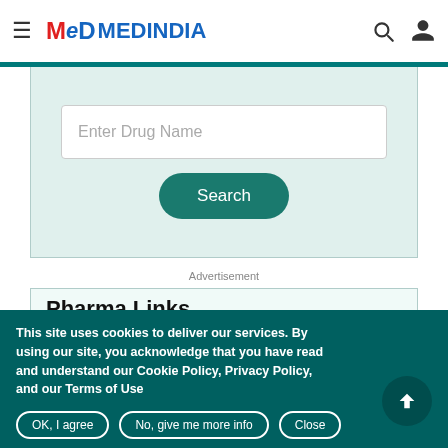MEDINDIA
[Figure (screenshot): Drug name search input box with placeholder text 'Enter Drug Name' and a teal Search button]
Advertisement
Pharma Links
Drug Database / All About Drugs
Drug Information
This site uses cookies to deliver our services. By using our site, you acknowledge that you have read and understand our Cookie Policy, Privacy Policy, and our Terms of Use